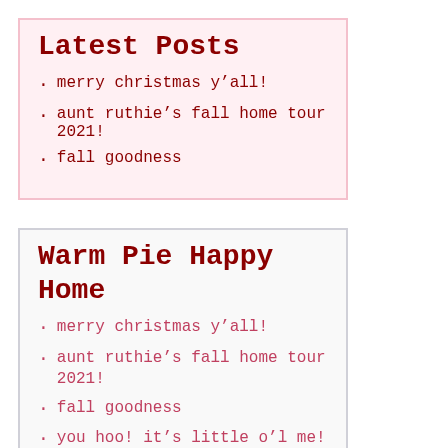Latest Posts
merry christmas y’all!
aunt ruthie’s fall home tour 2021!
fall goodness
Warm Pie Happy Home
merry christmas y’all!
aunt ruthie’s fall home tour 2021!
fall goodness
you hoo! it’s little o’l me!
a very merry country christmas to you!
happy thanksgiving and other